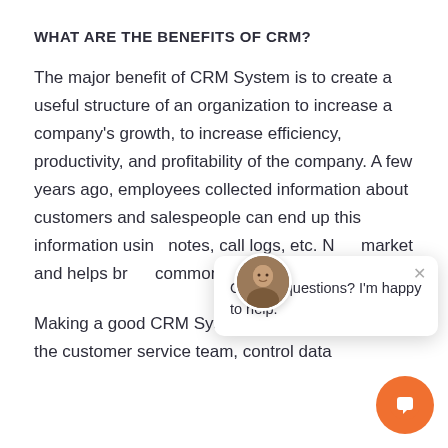WHAT ARE THE BENEFITS OF CRM?
The major benefit of CRM System is to create a useful structure of an organization to increase a company's growth, to increase efficiency, productivity, and profitability of the company. A few years ago, employees collected information about customers and salespeople can end up this information using notes, call logs, etc. N market and helps br commonplace.
Making a good CRM System should be a foc the customer service team, control data
[Figure (screenshot): Chat support popup overlay with avatar photo of a man, close button (x), and message 'Got any questions? I'm happy to help.' along with an orange chat bubble button in the bottom-right corner.]